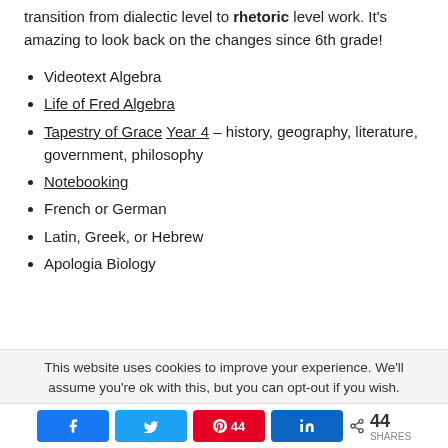transition from dialectic level to rhetoric level work. It's amazing to look back on the changes since 6th grade!
Videotext Algebra
Life of Fred Algebra
Tapestry of Grace Year 4 – history, geography, literature, government, philosophy
Notebooking
French or German
Latin, Greek, or Hebrew
Apologia Biology
This website uses cookies to improve your experience. We'll assume you're ok with this, but you can opt-out if you wish.